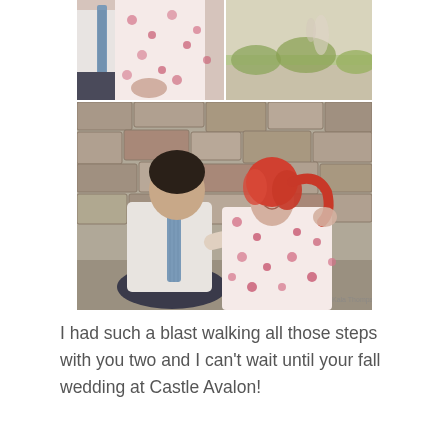[Figure (photo): A photo collage of a couple at a stone wall location. Top row has two smaller photos side by side: left shows a close-up of a couple sitting together, the man wearing a blue tie and the woman in a floral dress; right shows a wider outdoor scene. The large bottom photo shows the couple sitting against a stone wall, the woman with red/pink hair in a floral dress smiling, the man in a white shirt and blue tie leaning toward her.]
I had such a blast walking all those steps with you two and I can't wait until your fall wedding at Castle Avalon!